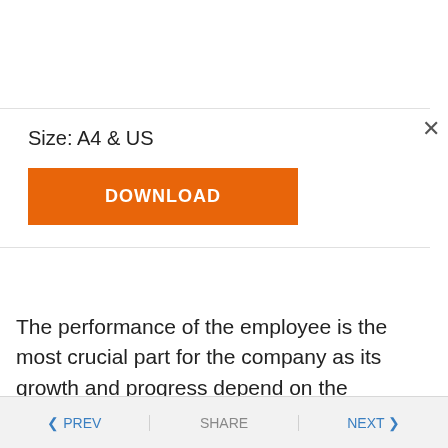Size: A4 & US
DOWNLOAD
The performance of the employee is the most crucial part for the company as its growth and progress depend on the performance of the employee and if even one is not performing well than it is the responsibility of the organization to
< PREV   SHARE   NEXT >